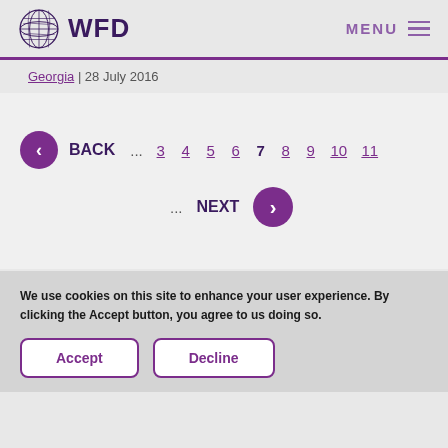WFD | MENU
Georgia | 28 July 2016
BACK ... 3 4 5 6 7 8 9 10 11
... NEXT
We use cookies on this site to enhance your user experience. By clicking the Accept button, you agree to us doing so.
Accept | Decline